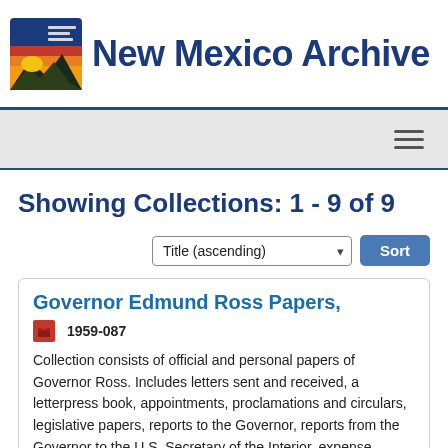New Mexico Archive
Showing Collections: 1 - 9 of 9
Title (ascending) Sort
Governor Edmund Ross Papers,
1959-087
Collection consists of official and personal papers of Governor Ross. Includes letters sent and received, a letterpress book, appointments, proclamations and circulars, legislative papers, reports to the Governor, reports from the Governor to the U.S. Secretary of the Interior, expense reports,